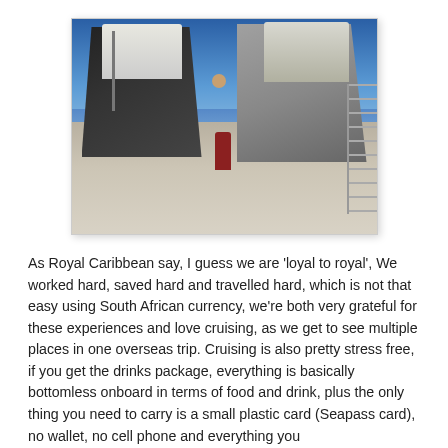[Figure (photo): A person standing on a cruise ship dock/pier with arms outstretched, flanked by two large cruise ships on a sunny day with blue sky.]
As Royal Caribbean say, I guess we are 'loyal to royal', We worked hard, saved hard and travelled hard, which is not that easy using South African currency, we're both very grateful for these experiences and love cruising, as we get to see multiple places in one overseas trip. Cruising is also pretty stress free, if you get the drinks package, everything is basically bottomless onboard in terms of food and drink, plus the only thing you need to carry is a small plastic card (Seapass card), no wallet, no cell phone and everything you